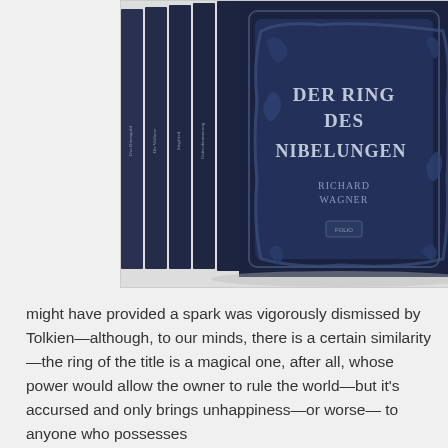[Figure (photo): A set of dark navy blue hardcover books — 'Der Ring des Nibelungen' by Richard Wagner — displayed as a boxed set, with ornate embossed decorative cover artwork on the front volume.]
might have provided a spark was vigorously dismissed by Tolkien—although, to our minds, there is a certain similarity—the ring of the title is a magical one, after all, whose power would allow the owner to rule the world—but it's accursed and only brings unhappiness—or worse— to anyone who possesses